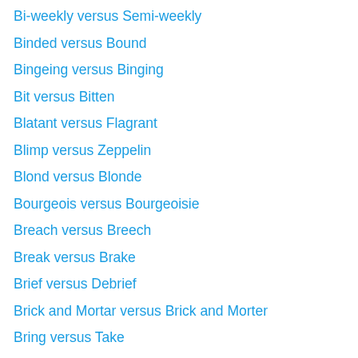Bi-weekly versus Semi-weekly
Binded versus Bound
Bingeing versus Binging
Bit versus Bitten
Blatant versus Flagrant
Blimp versus Zeppelin
Blond versus Blonde
Bourgeois versus Bourgeoisie
Breach versus Breech
Break versus Brake
Brief versus Debrief
Brick and Mortar versus Brick and Morter
Bring versus Take
Broach versus Brooch
Broth versus Stock